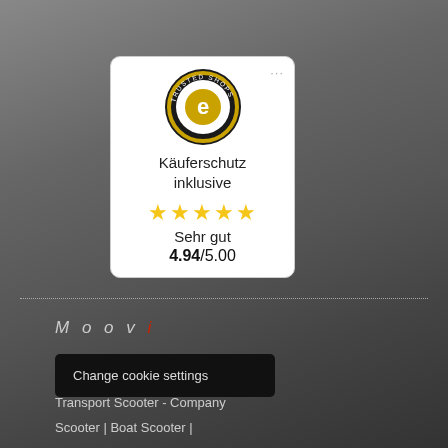[Figure (logo): Trusted Shops badge with seal logo, star rating, and buyer protection info. Shows Käuferschutz inklusive, 5 stars, Sehr gut, 4.94/5.00]
Moovi
Change cookie settings
Transport Scooter - Company
Scooter | Boat Scooter |